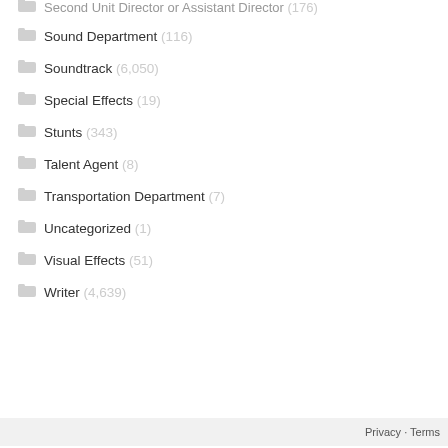Second Unit Director or Assistant Director (176)
Sound Department (116)
Soundtrack (6,050)
Special Effects (19)
Stunts (343)
Talent Agent (8)
Transportation Department (7)
Uncategorized (1)
Visual Effects (51)
Writer (4,639)
Privacy · Terms